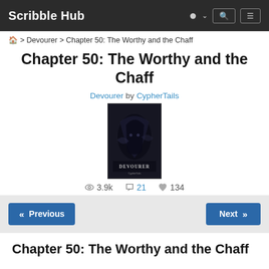Scribble Hub
🏠 > Devourer > Chapter 50: The Worthy and the Chaff
Chapter 50: The Worthy and the Chaff
Devourer by CypherTails
[Figure (illustration): Book cover for Devourer — dark background with hooded figure, text DEVOURER]
👁 3.9k  💬 21  ♥ 134
« Previous    Next »
Chapter 50: The Worthy and the Chaff